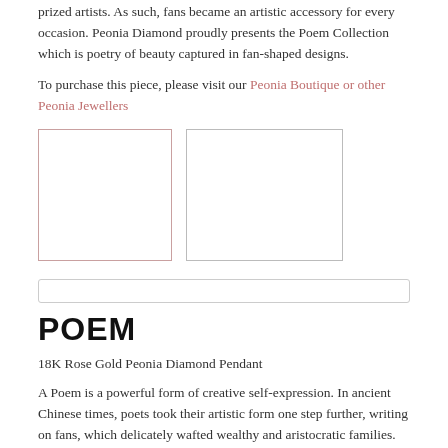prized artists. As such, fans became an artistic accessory for every occasion. Peonia Diamond proudly presents the Poem Collection which is poetry of beauty captured in fan-shaped designs.
To purchase this piece, please visit our Peonia Boutique or other Peonia Jewellers
[Figure (photo): Two product image placeholders side by side — left with pink/rose border, right with gray border]
[Figure (other): Search bar / input field]
POEM
18K Rose Gold Peonia Diamond Pendant
A Poem is a powerful form of creative self-expression. In ancient Chinese times, poets took their artistic form one step further, writing on fans, which delicately wafted wealthy and aristocratic families. These